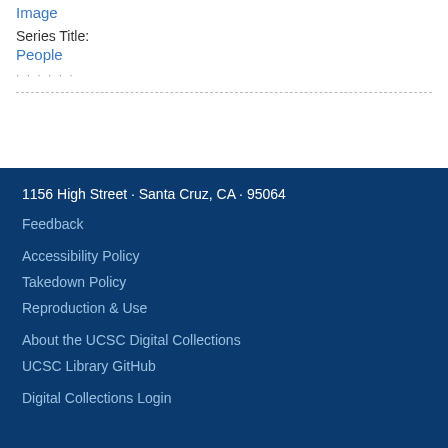Image
Series Title:
People
· · · · · ·
1156 High Street · Santa Cruz, CA · 95064
Feedback
Accessibility Policy
Takedown Policy
Reproduction & Use
About the UCSC Digital Collections
UCSC Library GitHub
Digital Collections Login